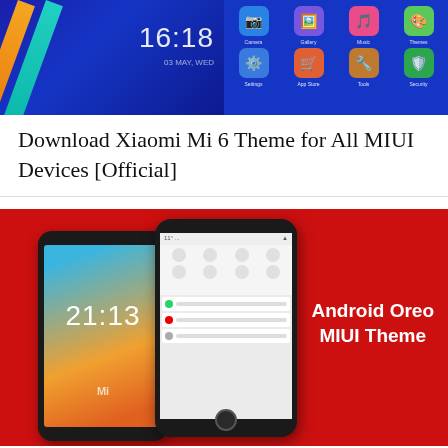[Figure (screenshot): Screenshot showing Xiaomi Mi 6 MIUI theme - left half shows blue lockscreen with diagonal orange and teal stripes and clock showing 16:18, right half shows app icon grid on blue background with Camera, Gallery, Music, Themes, Settings, App Store, Tools, Security icons]
Download Xiaomi Mi 6 Theme for All MIUI Devices [Official]
[Figure (screenshot): Screenshot on red background showing two Xiaomi phones demonstrating Android Oreo MIUI Theme - left phone shows lockscreen with time 21:13 and colorful wallpaper, right phone shows notification shade/control center, with white bold text 'Android Oreo MIUI Theme' on the right side]
Download Android Oreo MIUI Theme